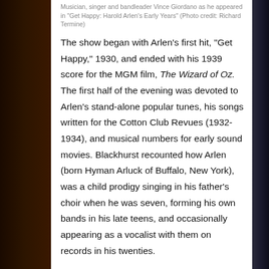Musician, singer and bandleader Vince Giordano as he appeared in "Get Happy: Harold Arlen's Early Years" (Photo credit: Richard Termine)
The show began with Arlen's first hit, "Get Happy," 1930, and ended with his 1939 score for the MGM film, The Wizard of Oz. The first half of the evening was devoted to Arlen's stand-alone popular tunes, his songs written for the Cotton Club Revues (1932-1934), and musical numbers for early sound movies. Blackhurst recounted how Arlen (born Hyman Arluck of Buffalo, New York), was a child prodigy singing in his father's choir when he was seven, forming his own bands in his late teens, and occasionally appearing as a vocalist with them on records in his twenties.
Among his early hits presented, all by lyricist Ted Koehler, were "You Said It," "I've Got the World on a String," "Happy As the Day Is Long," and Russell wrapping her lustrous voice around "Between the